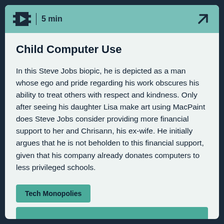5 min
Child Computer Use
In this Steve Jobs biopic, he is depicted as a man whose ego and pride regarding his work obscures his ability to treat others with respect and kindness. Only after seeing his daughter Lisa make art using MacPaint does Steve Jobs consider providing more financial support to her and Chrisann, his ex-wife. He initially argues that he is not beholden to this financial support, given that his company already donates computers to less privileged schools.
Tech Monopolies